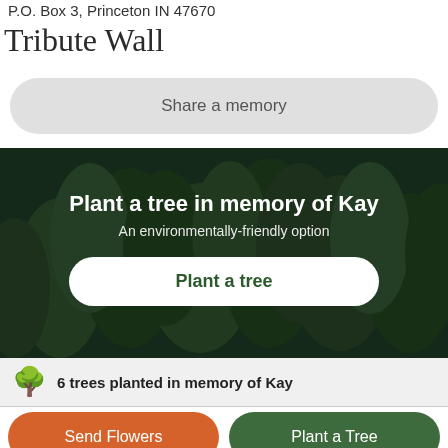P.O. Box 3, Princeton IN 47670
Tribute Wall
Share a memory
[Figure (photo): Forest banner with dark green trees in background, text overlay reading 'Plant a tree in memory of Kay', subtitle 'An environmentally-friendly option', and a white 'Plant a tree' button]
6 trees planted in memory of Kay
Send Flowers
Plant a Tree